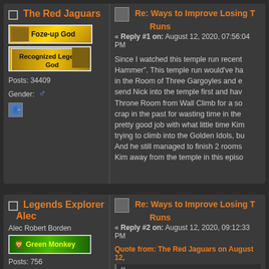The Red Jaguars
Foze-up God
Recognized Legends God
Posts: 34409
Gender: male
Re: Ways to Improve Losing Temple Runs
« Reply #1 on: August 12, 2020, 07:56:04 PM
Since I watched this temple run recently, I watched the "Thor's Hammer". This temple run would've had a chance at a solo run if Nico had gone in the Room of Three Gargoyles and entered the Throne Room from Wall Climb for a solo run...
Legends Explorer Alec
Alec Robert Borden
Green Monkey
Posts: 756
Gender: male
Re: Ways to Improve Losing Temple Runs
« Reply #2 on: August 12, 2020, 09:12:33 PM
Quote from: The Red Jaguars on August 12,
Since I watched this temple run recently, I wo... temple run would've had a chance at a solo... Gargoyles and entered the Throne Room fro...